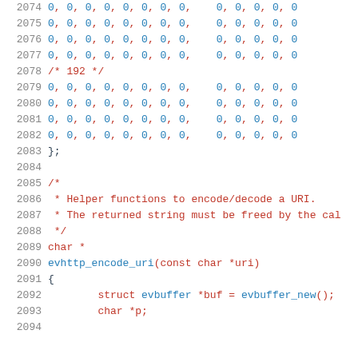Source code listing, lines 2074-2094, showing C code with array data and function definitions for evhttp_encode_uri
2074    0, 0, 0, 0, 0, 0, 0, 0,    0, 0, 0, 0, 0
2075    0, 0, 0, 0, 0, 0, 0, 0,    0, 0, 0, 0, 0
2076    0, 0, 0, 0, 0, 0, 0, 0,    0, 0, 0, 0, 0
2077    0, 0, 0, 0, 0, 0, 0, 0,    0, 0, 0, 0, 0
2078    /* 192 */
2079    0, 0, 0, 0, 0, 0, 0, 0,    0, 0, 0, 0, 0
2080    0, 0, 0, 0, 0, 0, 0, 0,    0, 0, 0, 0, 0
2081    0, 0, 0, 0, 0, 0, 0, 0,    0, 0, 0, 0, 0
2082    0, 0, 0, 0, 0, 0, 0, 0,    0, 0, 0, 0, 0
2083    };
2084
2085    /*
2086     * Helper functions to encode/decode a URI.
2087     * The returned string must be freed by the cal
2088     */
2089    char *
2090    evhttp_encode_uri(const char *uri)
2091    {
2092        struct evbuffer *buf = evbuffer_new();
2093        char *p;
2094